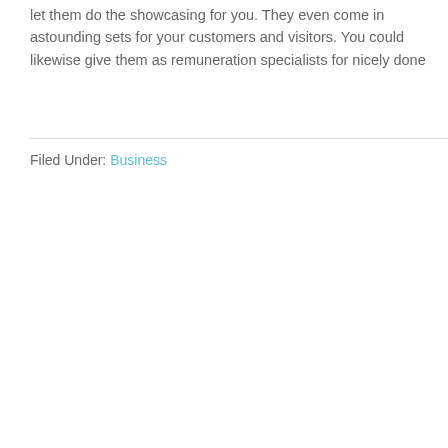let them do the showcasing for you. They even come in astounding sets for your customers and visitors. You could likewise give them as remuneration specialists for nicely done
Filed Under: Business